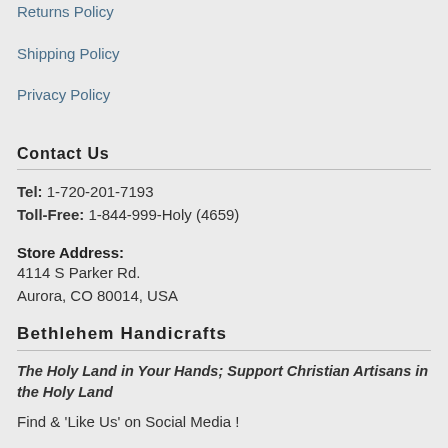Returns Policy
Shipping Policy
Privacy Policy
Contact Us
Tel: 1-720-201-7193
Toll-Free: 1-844-999-Holy (4659)
Store Address:
4114 S Parker Rd.
Aurora, CO 80014, USA
Bethlehem Handicrafts
The Holy Land in Your Hands; Support Christian Artisans in the Holy Land
Find & 'Like Us' on Social Media !